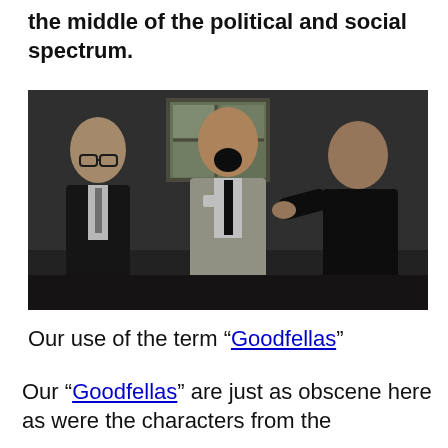the middle of the political and social spectrum.
[Figure (photo): A dark film still showing three men in suits: on the left an older bald man with glasses, in the center a man in a light suit with his head thrown back and mouth open, and on the right a heavy-set man in a dark suit appearing to grab the center figure by the lapel.]
Our use of the term “Goodfellas”
Our “Goodfellas” are just as obscene here as were the characters from the